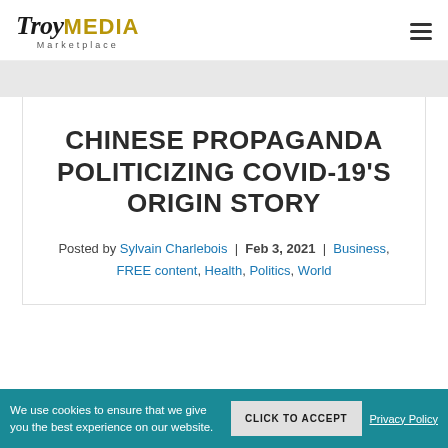TroyMEDIA Marketplace
CHINESE PROPAGANDA POLITICIZING COVID-19'S ORIGIN STORY
Posted by Sylvain Charlebois | Feb 3, 2021 | Business, FREE content, Health, Politics, World
We use cookies to ensure that we give you the best experience on our website. CLICK TO ACCEPT Privacy Policy